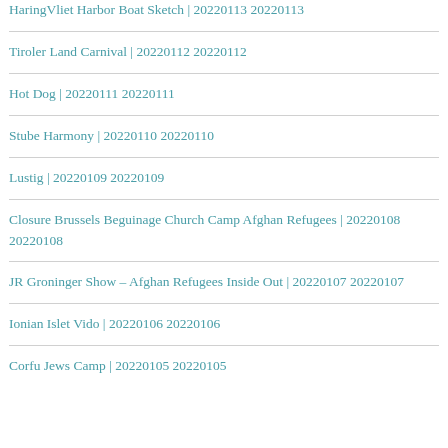HaringVliet Harbor Boat Sketch | 20220113 20220113
Tiroler Land Carnival | 20220112 20220112
Hot Dog | 20220111 20220111
Stube Harmony | 20220110 20220110
Lustig | 20220109 20220109
Closure Brussels Beguinage Church Camp Afghan Refugees | 20220108 20220108
JR Groninger Show – Afghan Refugees Inside Out | 20220107 20220107
Ionian Islet Vido | 20220106 20220106
Corfu Jews Camp | 20220105 20220105